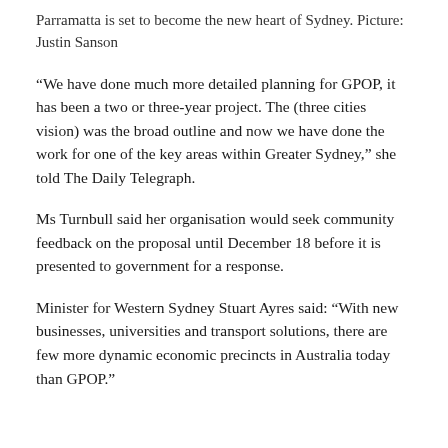Parramatta is set to become the new heart of Sydney. Picture: Justin Sanson
“We have done much more detailed planning for GPOP, it has been a two or three-year project. The (three cities vision) was the broad outline and now we have done the work for one of the key areas within Greater Sydney,” she told The Daily Telegraph.
Ms Turnbull said her organisation would seek community feedback on the proposal until December 18 before it is presented to government for a response.
Minister for Western Sydney Stuart Ayres said: “With new businesses, universities and transport solutions, there are few more dynamic economic precincts in Australia today than GPOP.”